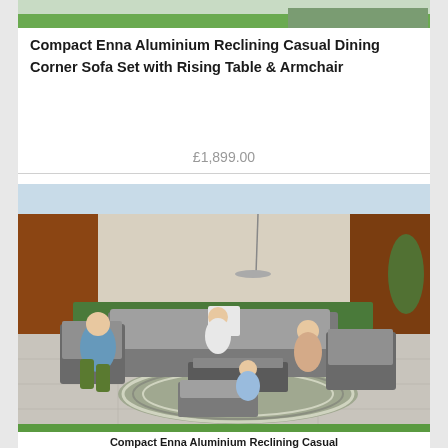[Figure (photo): Top partial cropped image of outdoor furniture set with green grass visible at bottom edge]
Compact Enna Aluminium Reclining Casual Dining Corner Sofa Set with Rising Table & Armchair
£1,899.00
[Figure (photo): Family of four seated on grey aluminium outdoor sofa set with rising table on a patio with stone tiles, striped rug, wooden wall paneling, and greenery in background]
Compact Enna Aluminium Reclining Casual